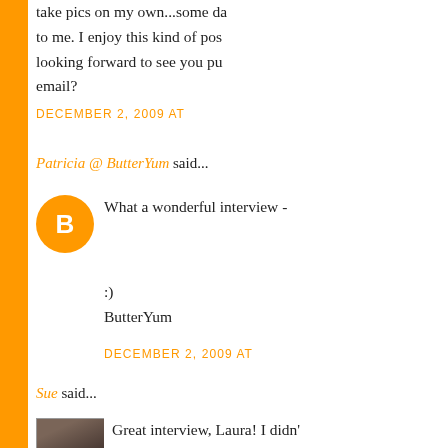take pics on my own...some da to me. I enjoy this kind of pos looking forward to see you pu email?
DECEMBER 2, 2009 AT
Patricia @ ButterYum said...
What a wonderful interview -
:)
ButterYum
DECEMBER 2, 2009 AT
Sue said...
Great interview, Laura! I didn'
I, too, would stand in line to b
(I am still trying to figure out